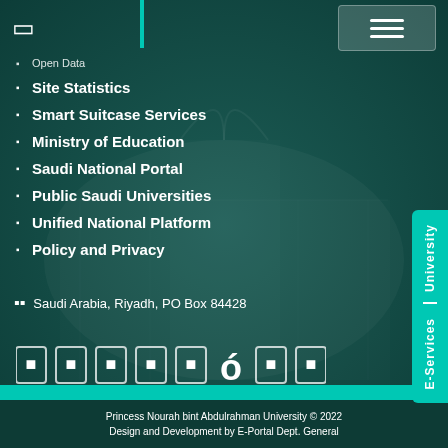Open Data
Site Statistics
Smart Suitcase Services
Ministry of Education
Saudi National Portal
Public Saudi Universities
Unified National Platform
Policy and Privacy
Saudi Arabia, Riyadh, PO Box 84428
[Figure (other): Social media icons row]
Princess Nourah bint Abdulrahman University © 2022
Design and Development by E-Portal Dept. General